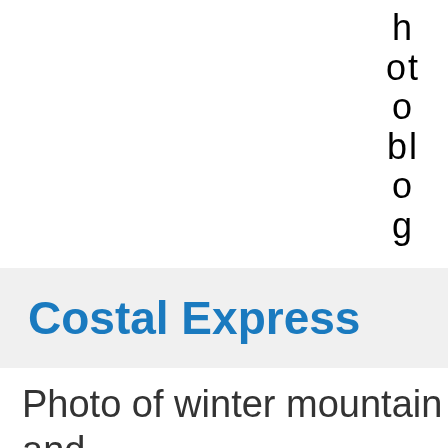h ot o bl o g
Costal Express
Photo of winter mountain and pebble beach